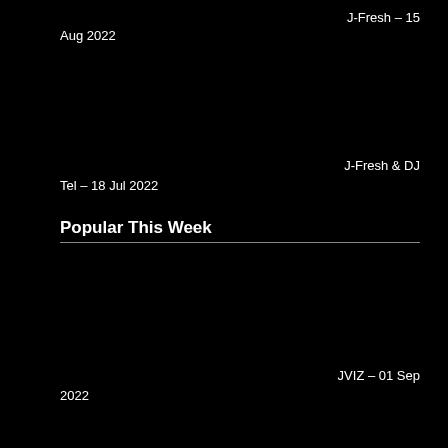J-Fresh – 15
Aug 2022
J-Fresh & DJ
Tel – 18 Jul 2022
Popular This Week
JVIZ – 01 Sep
2022